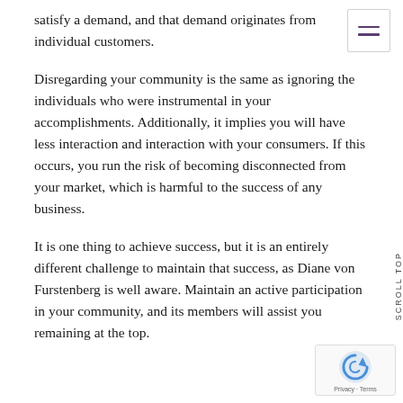satisfy a demand, and that demand originates from individual customers.
Disregarding your community is the same as ignoring the individuals who were instrumental in your accomplishments. Additionally, it implies you will have less interaction and interaction with your consumers. If this occurs, you run the risk of becoming disconnected from your market, which is harmful to the success of any business.
It is one thing to achieve success, but it is an entirely different challenge to maintain that success, as Diane von Furstenberg is well aware. Maintain an active participation in your community, and its members will assist you remaining at the top.